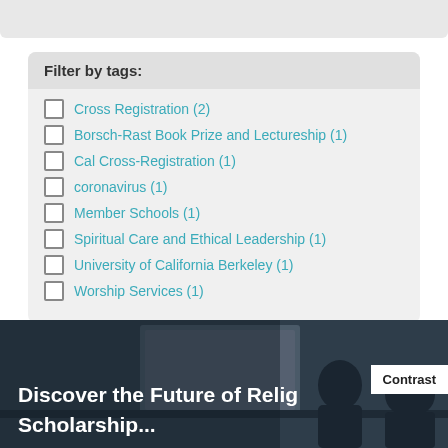Filter by tags:
Cross Registration (2)
Borsch-Rast Book Prize and Lectureship (1)
Cal Cross-Registration (1)
coronavirus (1)
Member Schools (1)
Spiritual Care and Ethical Leadership (1)
University of California Berkeley (1)
Worship Services (1)
[Figure (photo): People sitting at a table in a classroom or meeting room, with a whiteboard visible in the background. Dark-toned photo.]
Discover the Future of Relig... Scholarship...